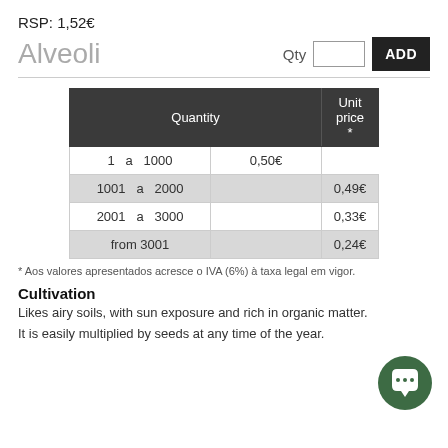RSP: 1,52€
Alveoli
| Quantity | Unit price * |
| --- | --- |
| 1  a  1000 | 0,50€ |
| 1001  a  2000 | 0,49€ |
| 2001  a  3000 | 0,33€ |
| from 3001 | 0,24€ |
* Aos valores apresentados acresce o IVA (6%) à taxa legal em vigor.
Cultivation
Likes airy soils, with sun exposure and rich in organic matter.
It is easily multiplied by seeds at any time of the year.